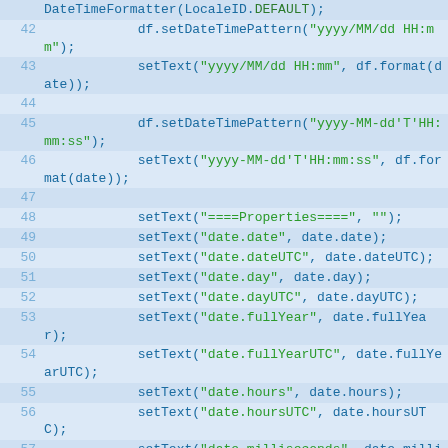[Figure (screenshot): Code snippet showing Java/ActionScript-like code lines 42-59 with line numbers, featuring DateTimeFormatter and setText method calls with various date property strings. Syntax highlighted with blue and green colors on a light blue background.]